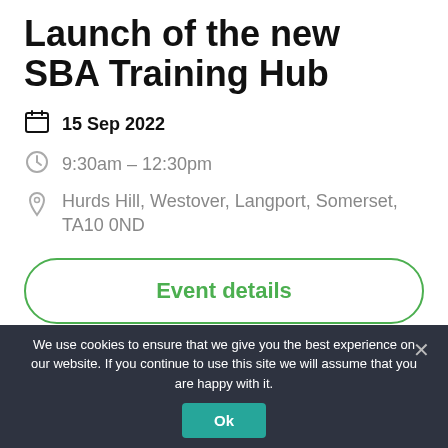Launch of the new SBA Training Hub
15 Sep 2022
9:30am – 12:30pm
Hurds Hill, Westover, Langport, Somerset, TA10 0ND
Event details
We use cookies to ensure that we give you the best experience on our website. If you continue to use this site we will assume that you are happy with it.